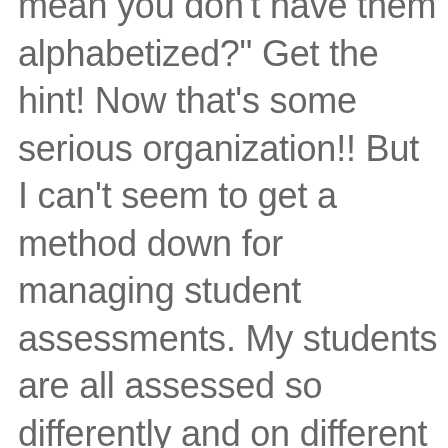mean you don't have them alphabetized?" Get the hint! Now that's some serious organization!! But I can't seem to get a method down for managing student assessments. My students are all assessed so differently and on different concepts. I'm planning to work on this system during the break. I also want to make up individualized tubs for each student. Not sure exactly how I want it to look just yet, but basically I want each student to have a bin or tub that contains individualized skilled activities just for them that they can work on independently or when